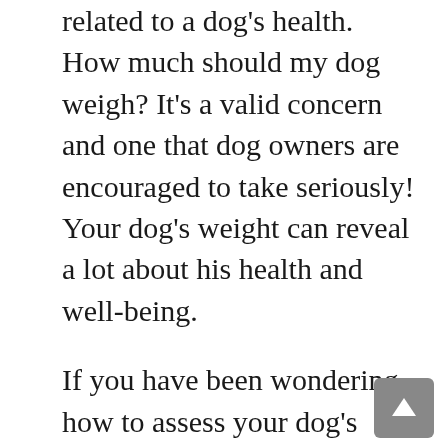related to a dog's health. How much should my dog weigh? It's a valid concern and one that dog owners are encouraged to take seriously! Your dog's weight can reveal a lot about his health and well-being.
If you have been wondering how to assess your dog's weight and when you should be concerned, we've got you covered! In this article, we're going to dig into the different factors that influence your dog's weight, how to determine how much he should weigh, and how to use this information to monitor and improve your dog's health.